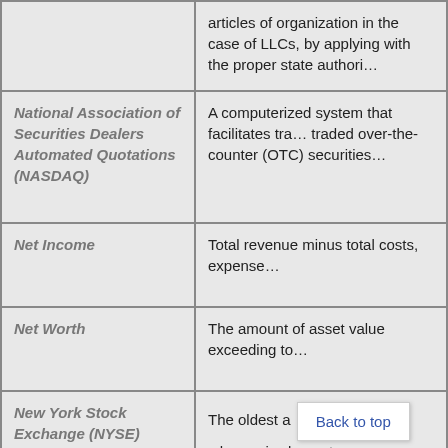| Term | Definition |
| --- | --- |
|  | articles of organization in the case of LLCs, by applying with the proper state authori… |
| National Association of Securities Dealers Automated Quotations (NASDAQ) | A computerized system that facilitates tra… traded over-the-counter (OTC) securities… |
| Net Income | Total revenue minus total costs, expense… |
| Net Worth | The amount of asset value exceeding to… |
| New York Stock Exchange (NYSE) | The oldest a… change i… largest corpo… |
| No-Par-Value Stock | Stock with no minimum value. Most state… |
| Noncontributory Retirement Plan | A pension plan that is funded only by em… |